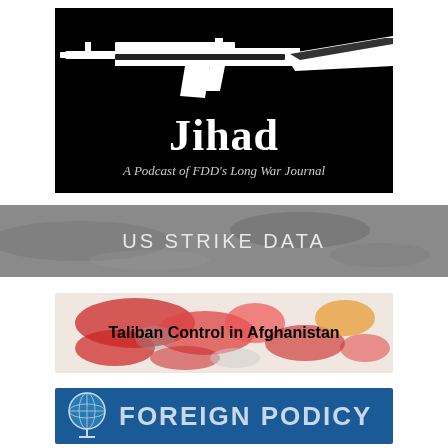[Figure (illustration): Jihad podcast banner — black background with white AK-47 rifle silhouette, large white 'Jihad' title, subtitle 'A Podcast of FDD's Long War Journal']
[Figure (infographic): US Strike Data banner — grey background with blurred military imagery, text 'US STRIKE DATA' in light grey spaced letters]
[Figure (map): Taliban Control in Afghanistan — map with red/pink regions showing Taliban-controlled areas, text overlay 'Taliban Control in Afghanistan']
[Figure (logo): Foreign Podicy banner — blue background with globe icon and text 'FOREIGN PODICY' in large light blue letters]